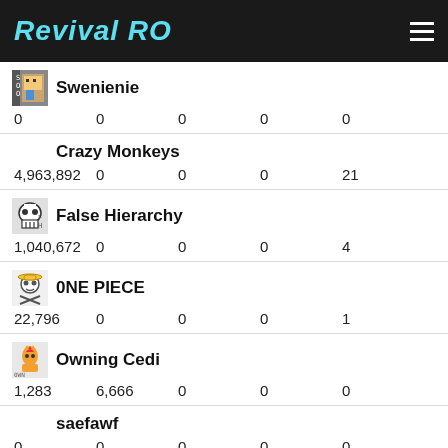Revival RO
| Guild | Stat1 | Stat2 | Stat3 | Stat4 | Stat5 |
| --- | --- | --- | --- | --- | --- |
| Swenienie | 0 | 0 | 0 | 0 | 0 |
| Crazy Monkeys | 4,963,892 | 0 | 0 | 0 | 21 |
| False Hierarchy | 1,040,672 | 0 | 0 | 0 | 4 |
| 0NE PIECE | 22,796 | 0 | 0 | 0 | 1 |
| Owning Cedi | 1,283 | 6,666 | 0 | 0 | 0 |
| saefawf | 0 | 0 | 0 | 0 | 0 |
| WoeCoinsV1 | 347,856 | 0 | 0 | 0 | 2 |